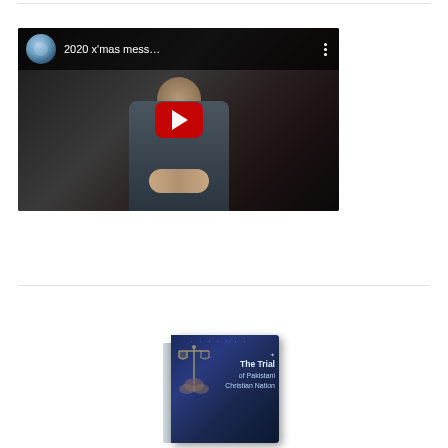[Figure (screenshot): YouTube video embed showing a video titled '2020 x'mas mess...' with a person praying in dark surroundings, red YouTube play button in center, avatar thumbnail and dots menu visible in top bar]
[Figure (photo): Book cover for 'The Trial of Pakistani Christian Nation' shown as a 3D book with dark blue starry cover, scales of justice graphic, and white/blue title text]